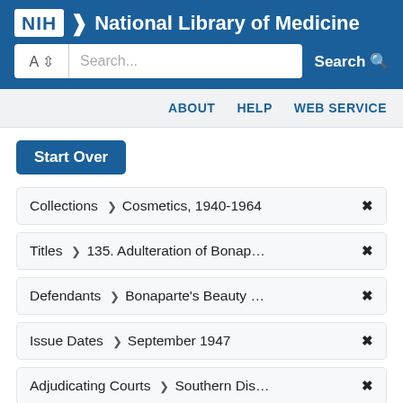[Figure (screenshot): NIH National Library of Medicine logo with white NIH box and chevron on blue background]
Search...
Search
ABOUT   HELP   WEB SERVICE
Start Over
Collections > Cosmetics, 1940-1964 ✕
Titles > 135. Adulteration of Bonap... ✕
Defendants > Bonaparte's Beauty ... ✕
Issue Dates > September 1947 ✕
Adjudicating Courts > Southern Dis... ✕